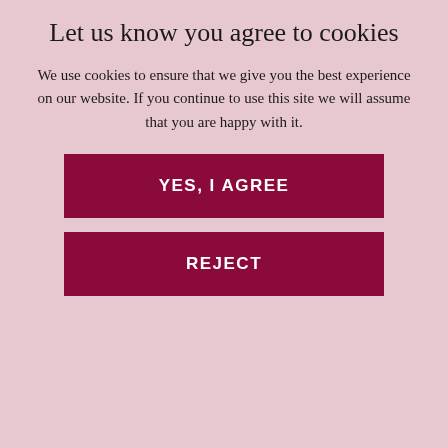Let us know you agree to cookies
We use cookies to ensure that we give you the best experience on our website. If you continue to use this site we will assume that you are happy with it.
YES, I AGREE
REJECT
problem, however any strain or overuse can cause it.
Lesser known golfer’s elbow (medial epicondylitis) is a similar issue but on the other side of the elbow.
These conditions are easy to get but can hang around for weeks and months if left untreated. This is largely